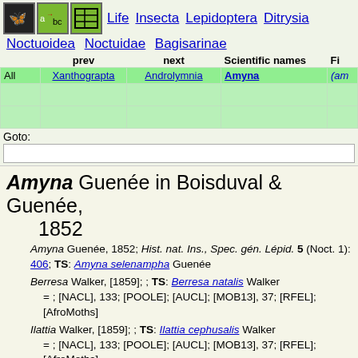Life Insecta Lepidoptera Ditrysia Noctuoidea Noctuidae Bagisarinae
|  | prev | next | Scientific names | Fi |
| --- | --- | --- | --- | --- |
| All | Xanthograpta | Androlymnia | Amyna | (am |
|  |  |  |  |  |
|  |  |  |  |  |
Goto:
Amyna Guenée in Boisduval & Guenée, 1852
Amyna Guenée, 1852; Hist. nat. Ins., Spec. gén. Lépid. 5 (Noct. 1): 406; TS: Amyna selenampha Guenée
Berresa Walker, [1859]; ; TS: Berresa natalis Walker = ; [NACL], 133; [POOLE]; [AUCL]; [MOB13], 37; [RFEL]; [AfroMoths]
Ilattia Walker, [1859]; ; TS: Ilattia cephusalis Walker = ; [NACL], 133; [POOLE]; [AUCL]; [MOB13], 37; [RFEL]; [AfroMoths]
Lochia Walker, 1865; ; TS: Ilattia apicalis Moore = ; [NACL], 133; [POOLE]; [AUCL]; [MOB13], 37; [RFEL]; [AfroMoths]
Stridova Walker, 1869; ; TS: Stridova albigutta Walker